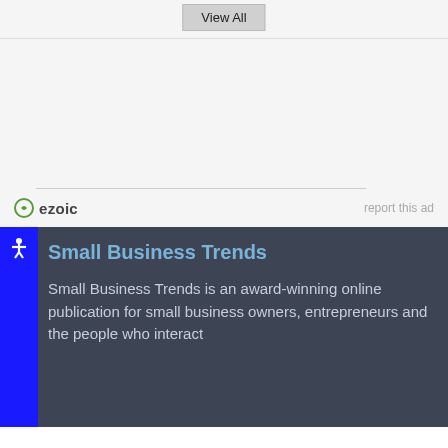View All
[Figure (other): Ezoic advertisement placeholder area with horizontal rule]
ezoic   report this ad
Small Business Trends
Small Business Trends is an award-winning online publication for small business owners, entrepreneurs and the people who interact